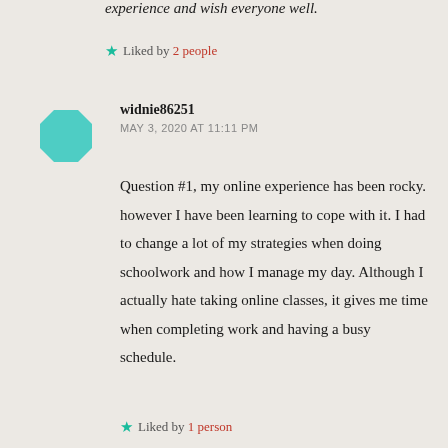experience and wish everyone well.
★ Liked by 2 people
widnie86251
MAY 3, 2020 AT 11:11 PM
Question #1, my online experience has been rocky. however I have been learning to cope with it. I had to change a lot of my strategies when doing schoolwork and how I manage my day. Although I actually hate taking online classes, it gives me time when completing work and having a busy schedule.
★ Liked by 1 person